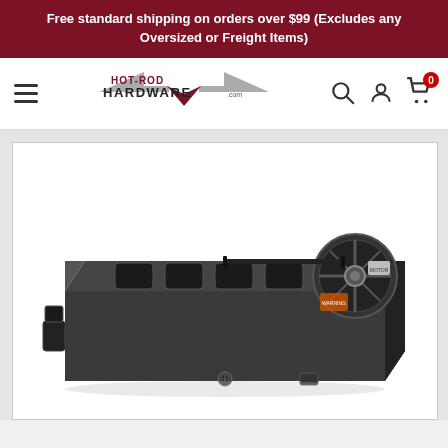Free standard shipping on orders over $99 (Excludes any Oversized or Freight Items)
[Figure (logo): Hot Rod Hardware logo with stylized wings and text]
[Figure (photo): Automotive HVAC blower motor / heater box unit, dark grey/black plastic housing with cylindrical blower motor on right side, multiple rectangular air ducts on top, viewed from above at an angle, on white background]